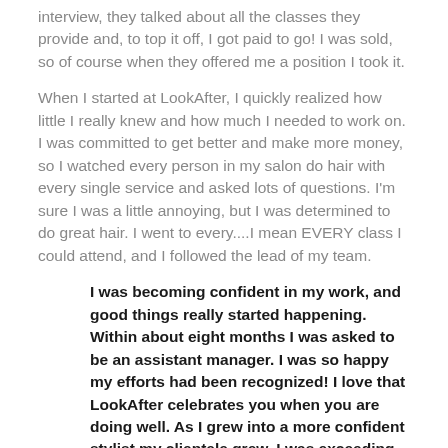interview, they talked about all the classes they provide and, to top it off, I got paid to go!  I was sold, so of course when they offered me a position I took it.
When I started at LookAfter, I quickly realized how little I really knew and how much I needed to work on. I was committed to get better and make more money, so I watched every person in my salon do hair with every single service and asked lots of questions.  I'm sure I was a little annoying, but I was determined to do great hair.  I went to every....I mean EVERY class I could attend, and I followed the lead of my team.
I was becoming confident in my work, and good things really started happening. Within about eight months I was asked to be an assistant manager.  I was so happy my efforts had been recognized!  I love that LookAfter celebrates you when you are doing well. As I grew into a more confident stylist my clientele grew, I was exceeding goals, and everything was great.